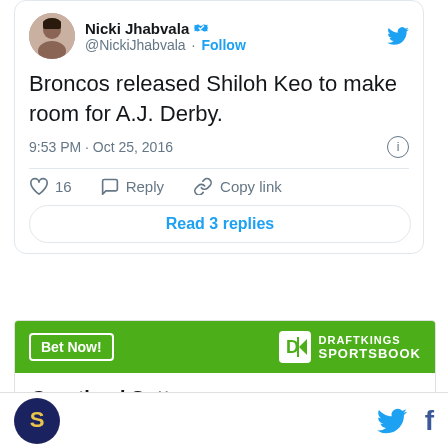[Figure (screenshot): Tweet from @NickiJhabvala with verified badge and Follow button, showing tweet text 'Broncos released Shiloh Keo to make room for A.J. Derby.' posted at 9:53 PM · Oct 25, 2016, with 16 likes, Reply, Copy link actions and a 'Read 3 replies' button.]
[Figure (infographic): DraftKings Sportsbook betting widget showing Courtland Sutton 'To win MVP' with odds +30000]
SB Nation logo, Twitter bird icon, Facebook f icon